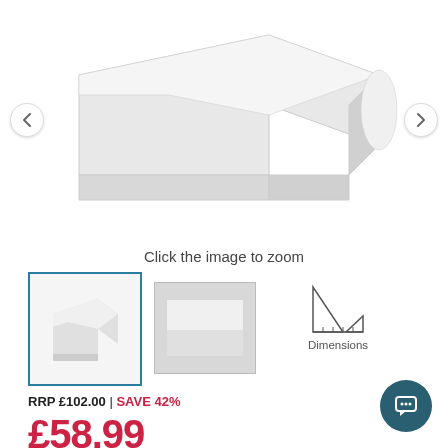[Figure (photo): White corner desk/shelf unit product image on white background with left and right navigation arrows]
Click the image to zoom
[Figure (photo): Selected thumbnail of white corner desk (blue border)]
[Figure (photo): Second thumbnail showing flat white panel]
[Figure (illustration): Dimensions icon showing a set square/triangle ruler]
Dimensions
RRP £102.00 | SAVE 42%
£58.99